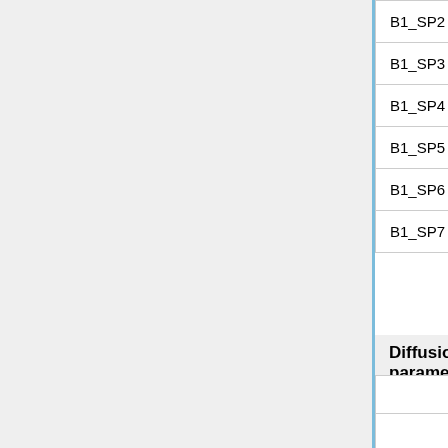| Parameter | Size | Description |
| --- | --- | --- |
| B1_SP2 | 2G² | P₂ scattering production matrix |
| B1_SP3 | 2G² | P₃ scattering production matrix |
| B1_SP4 | 2G² | P₄ scattering production matrix |
| B1_SP5 | 2G² | P₅ scattering production matrix |
| B1_SP6 | 2G² | P₆ scattering production matrix |
| B1_SP7 | 2G² | P₇ scattering production matrix |
Diffusion parameters
| Parameter | Size | Description |
| --- | --- | --- |
|  |  | Transport cross |